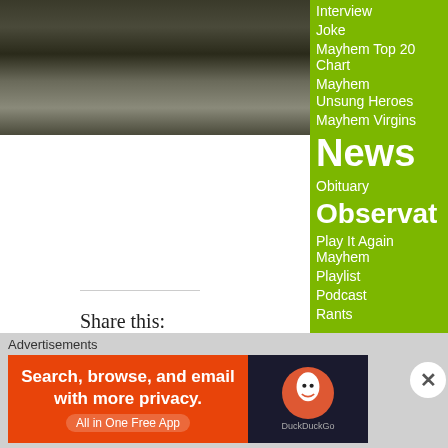[Figure (photo): Dark grainy black and white photograph, appears to show trees or people in dim lighting]
Share this:
[Figure (infographic): Row of social media share buttons: Twitter (blue), Facebook (blue), Pinterest (red), Reddit (light blue), Print (gray), then second row: Tumblr (dark blue), LinkedIn (blue), Email (gray), Pocket (red)]
Loading...
Comments (1)
Interview
Joke
Mayhem Top 20 Chart
Mayhem Unsung Heroes
Mayhem Virgins
News
Obituary
Observat
Play It Again Mayhem
Playlist
Podcast
Rants
Revie
Trivia
Under The Covers With
Advertisements
[Figure (screenshot): DuckDuckGo advertisement banner: orange background with text 'Search, browse, and email with more privacy. All in One Free App' and DuckDuckGo logo on dark background]